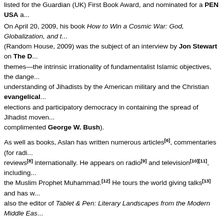listed for the Guardian (UK) First Book Award, and nominated for a PEN USA a...
On April 20, 2009, his book How to Win a Cosmic War: God, Globalization, and t... (Random House, 2009) was the subject of an interview by Jon Stewart on The D... themes—the intrinsic irrationality of fundamentalist Islamic objectives, the dange... understanding of Jihadists by the American military and the Christian evangelical... elections and participatory democracy in containing the spread of Jihadist moven... complimented George W. Bush).
As well as books, Aslan has written numerous articles[6], commentaries (for radi... reviews[8] internationally. He appears on radio[9] and television[10][11], including... the Muslim Prophet Muhammad.[12] He tours the world giving talks[13] and has w... also the editor of Tablet & Pen: Literary Landscapes from the Modern Middle Eas...
Other publications
'The Struggle for Islam's Soul', essay in With All Our Might: A Progressive S... Defending Liberty, Will Marshall, ed. Rowman & Littlefield Publishers, Inc., ...
'From Here to Mullahcracy', essay in My Sister, Guard Your Veil; My Brother... Iranian Voices, Lila Azam Zanganeh, ed. Beacon Press, 2006